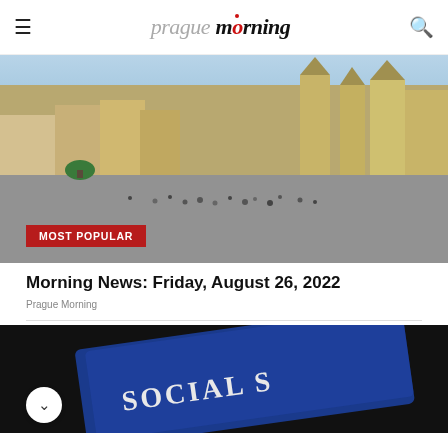prague morning
[Figure (photo): Aerial view of Prague Old Town Square with historic buildings, red-roofed Gothic church, cobblestone square filled with tourists, and colorful baroque facades]
MOST POPULAR
Morning News: Friday, August 26, 2022
Prague Morning
[Figure (photo): Close-up of a blue Social Security card on dark background, partially visible text reading SOCIAL S...]